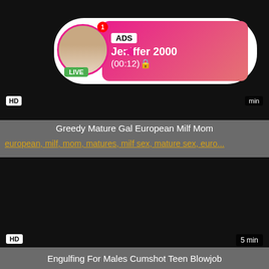[Figure (screenshot): Dark video thumbnail block at top with HD badge and min label]
[Figure (infographic): Ad overlay with avatar circle showing LIVE badge, notification badge, pink gradient box with ADS label, Jeniffer 2000 name, and (00:12) timer]
Greedy Mature Gal European Milf Mom
european, milf, mom, matures, milf sex, mature sex, euro...
[Figure (screenshot): Dark/black video thumbnail block at bottom with HD badge and 5 min label]
Engulfing For Males Cumshot Teen Blowjob